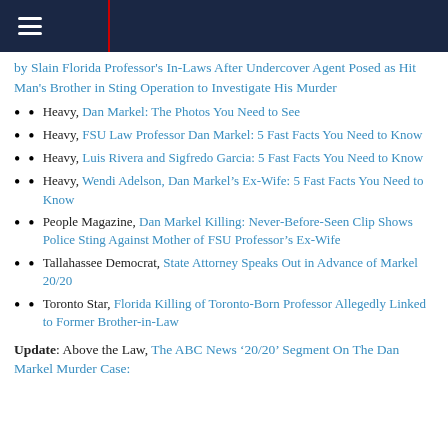by Slain Florida Professor's In-Laws After Undercover Agent Posed as Hit Man's Brother in Sting Operation to Investigate His Murder
Heavy, Dan Markel: The Photos You Need to See
Heavy, FSU Law Professor Dan Markel: 5 Fast Facts You Need to Know
Heavy, Luis Rivera and Sigfredo Garcia: 5 Fast Facts You Need to Know
Heavy, Wendi Adelson, Dan Markel’s Ex-Wife: 5 Fast Facts You Need to Know
People Magazine, Dan Markel Killing: Never-Before-Seen Clip Shows Police Sting Against Mother of FSU Professor's Ex-Wife
Tallahassee Democrat, State Attorney Speaks Out in Advance of Markel 20/20
Toronto Star, Florida Killing of Toronto-Born Professor Allegedly Linked to Former Brother-in-Law
Update: Above the Law, The ABC News ‘20/20’ Segment On The Dan Markel Murder Case: